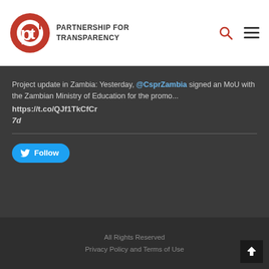[Figure (logo): Partnership for Transparency logo — red circular PTF emblem with text PARTNERSHIP FOR TRANSPARENCY]
Project update in Zambia: Yesterday, @CsprZambia signed an MoU with the Zambian Ministry of Education for the promo... https://t.co/QJf1TkCfCr 7d
[Figure (other): Twitter Follow button with bird icon]
All Rights Reserved
Privacy Policy and Terms of Use